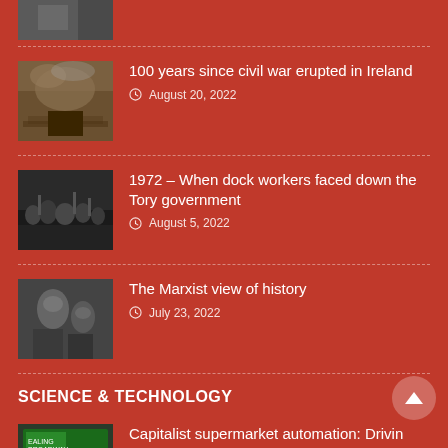[Figure (photo): Partial thumbnail of a historical photo at the top, cropped]
100 years since civil war erupted in Ireland
August 20, 2022
1972 – When dock workers faced down the Tory government
August 5, 2022
The Marxist view of history
July 23, 2022
SCIENCE & TECHNOLOGY
Capitalist supermarket automation: Drivin down wages, cutting jobs, boosting profits